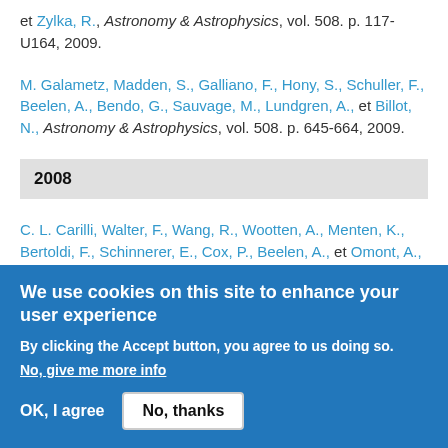et Zylka, R., Astronomy & Astrophysics, vol. 508. p. 117-U164, 2009.
M. Galametz, Madden, S., Galliano, F., Hony, S., Schuller, F., Beelen, A., Bendo, G., Sauvage, M., Lundgren, A., et Billot, N., Astronomy & Astrophysics, vol. 508. p. 645-664, 2009.
2008
C. L. Carilli, Walter, F., Wang, R., Wootten, A., Menten, K., Bertoldi, F., Schinnerer, E., Cox, P., Beelen, A., et Omont, A., Astrophysics and Space Science, vol. 313. p. 307-311, 2008.
We use cookies on this site to enhance your user experience
By clicking the Accept button, you agree to us doing so.
No, give me more info